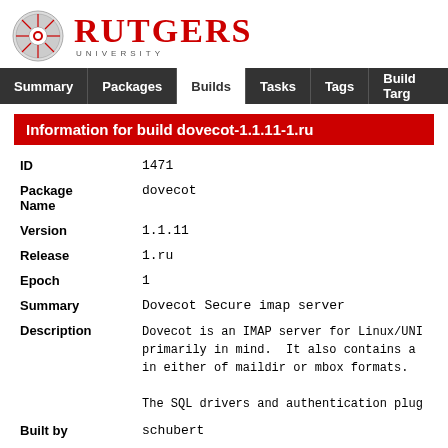[Figure (logo): Rutgers University logo with circular seal and red RUTGERS UNIVERSITY text]
Summary | Packages | Builds | Tasks | Tags | Build Targ...
Information for build dovecot-1.1.11-1.ru
| ID | 1471 |
| Package Name | dovecot |
| Version | 1.1.11 |
| Release | 1.ru |
| Epoch | 1 |
| Summary | Dovecot Secure imap server |
| Description | Dovecot is an IMAP server for Linux/UNI... primarily in mind.  It also contains a... in either of maildir or mbox formats.

The SQL drivers and authentication plug... |
| Built by | schubert |
| State | complete |